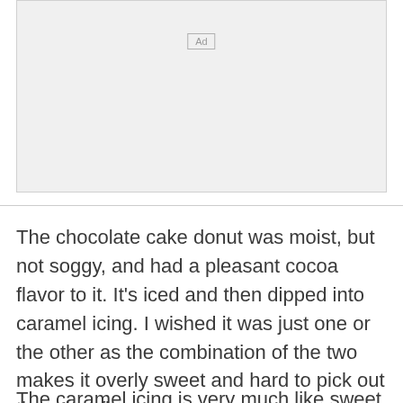[Figure (other): Advertisement placeholder box with 'Ad' label]
The chocolate cake donut was moist, but not soggy, and had a pleasant cocoa flavor to it. It's iced and then dipped into caramel icing. I wished it was just one or the other as the combination of the two makes it overly sweet and hard to pick out the other flavors.
The caramel icing is very much like sweet